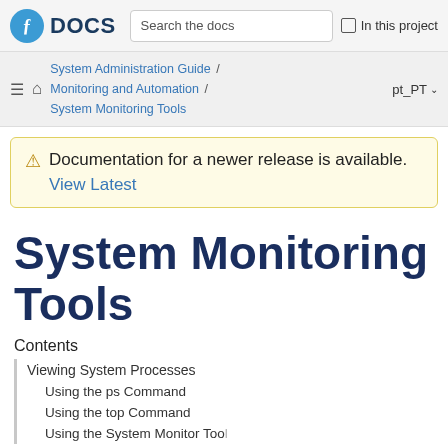DOCS | Search the docs | In this project
System Administration Guide / Monitoring and Automation / System Monitoring Tools | pt_PT
⚠ Documentation for a newer release is available. View Latest
System Monitoring Tools
Contents
Viewing System Processes
Using the ps Command
Using the top Command
Using the System Monitor Tool